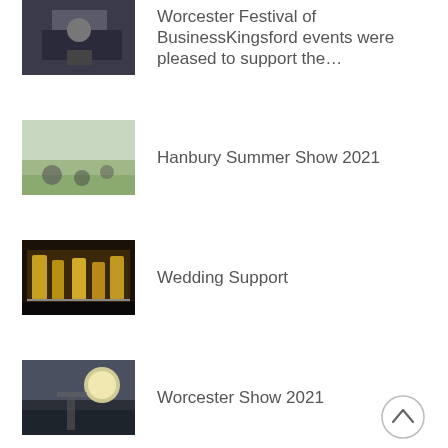Worcester Festival of BusinessKingsford events were pleased to support the…
Hanbury Summer Show 2021
Wedding Support
Worcester Show 2021